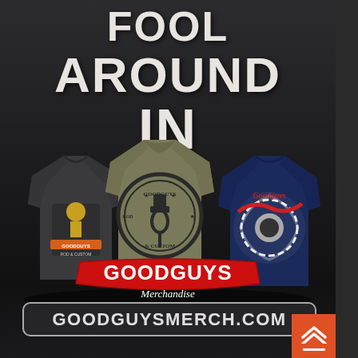FOOL AROUND IN
[Figure (photo): Three Goodguys branded t-shirts displayed from behind/front: left is dark gray with Goodguys Rod & Custom graphic, center is olive/khaki with circular Goodguys Rod & Custom piston logo on back, right is navy blue with Goodguys wave/tire graphic]
[Figure (logo): Goodguys Merchandise logo - red and white stylized text 'Goodguys' with 'Merchandise' in script below]
GOODGUYSMERCH.COM